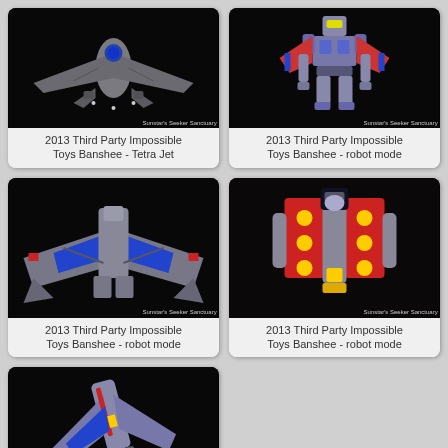[Figure (photo): 2013 Third Party Impossible Toys Banshee in Tetra Jet mode, top-down view on black background. Watermark: Sunstar's Seeker Sanctuary]
2013 Third Party Impossible Toys Banshee - Tetra Jet
[Figure (photo): 2013 Third Party Impossible Toys Banshee in robot mode, front view on black background. Watermark: Sunstar's Seeker Sanctuary]
2013 Third Party Impossible Toys Banshee - robot mode
[Figure (photo): 2013 Third Party Impossible Toys Banshee in robot mode, back/wing view on black background. Watermark: Sunstar's Seeker Sanctuary]
2013 Third Party Impossible Toys Banshee - robot mode
[Figure (photo): 2013 Third Party Impossible Toys Banshee in robot mode, close-up chest/torso view on black background. Watermark: Sunstar's Seeker Sanctuary]
2013 Third Party Impossible Toys Banshee - robot mode
[Figure (photo): 2013 Third Party Impossible Toys Banshee in jet mode, angled view on black background. Watermark visible.]